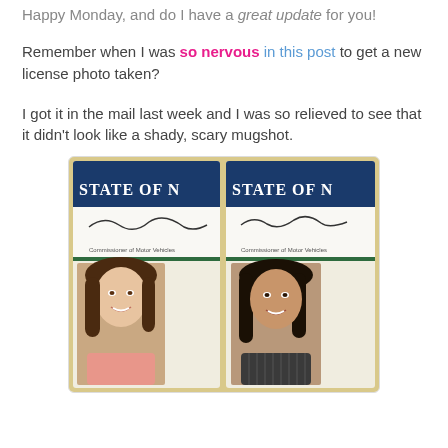Happy Monday, and do I have a great update for you!
Remember when I was so nervous in this post to get a new license photo taken?
I got it in the mail last week and I was so relieved to see that it didn't look like a shady, scary mugshot.
[Figure (photo): Two side-by-side driver's license photos showing 'STATE OF N...' (New York) driver's licenses with two different women's photos and signatures from Commissioner of Motor Vehicles]